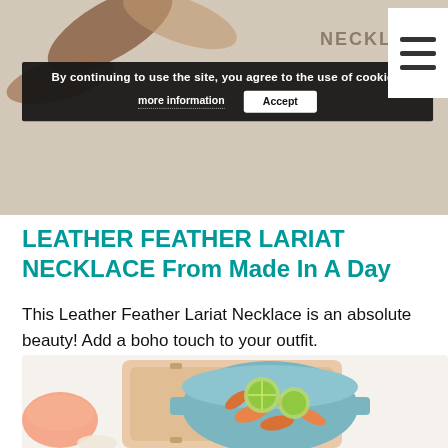[Figure (photo): Top portion of a webpage showing a leather feather lariat necklace image partially visible at the top, with a dark cookie consent banner overlay and a hamburger menu icon in the top right corner.]
LEATHER FEATHER LARIAT NECKLACE From Made In A Day
This Leather Feather Lariat Necklace is an absolute beauty! Add a boho touch to your outfit.
[Figure (photo): A blue ceramic pot filled with cooked shrimp and lime slices, placed on a wooden trivet/board, with a small bowl of pink sauce visible on the left side, photographed from above on a white background.]